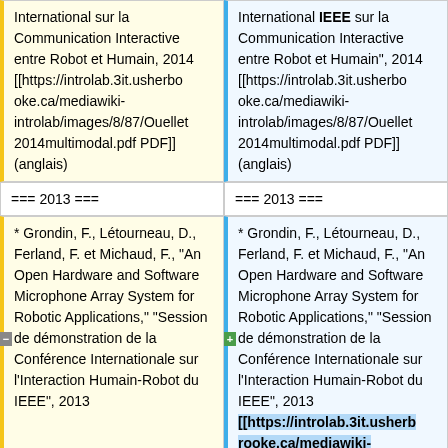International sur la Communication Interactive entre Robot et Humain, 2014 [[https://introlab.3it.usherbrooke.ca/mediawiki-introlab/images/8/87/Ouellet2014multimodal.pdf PDF]] (anglais)
International IEEE sur la Communication Interactive entre Robot et Humain", 2014 [[https://introlab.3it.usherbrooke.ca/mediawiki-introlab/images/8/87/Ouellet2014multimodal.pdf PDF]] (anglais)
=== 2013 ===
=== 2013 ===
* Grondin, F., Létourneau, D., Ferland, F. et Michaud, F., "An Open Hardware and Software Microphone Array System for Robotic Applications," "Session de démonstration de la Conférence Internationale sur l'Interaction Humain-Robot du IEEE", 2013
* Grondin, F., Létourneau, D., Ferland, F. et Michaud, F., "An Open Hardware and Software Microphone Array System for Robotic Applications," "Session de démonstration de la Conférence Internationale sur l'Interaction Humain-Robot du IEEE", 2013 [[https://introlab.3it.usherbrooke.ca/mediawiki-